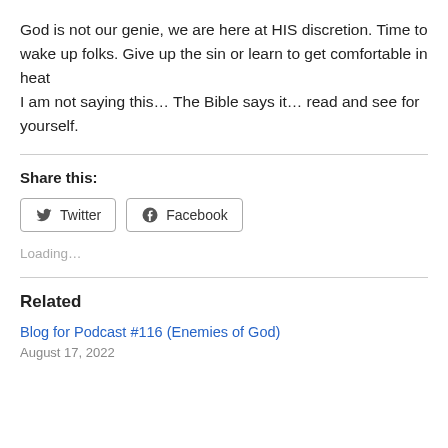God is not our genie, we are here at HIS discretion. Time to wake up folks. Give up the sin or learn to get comfortable in heat
I am not saying this… The Bible says it… read and see for yourself.
Share this:
Loading...
Related
Blog for Podcast #116 (Enemies of God)
August 17, 2022